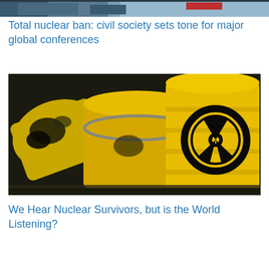[Figure (photo): Partial top image, cropped view of a person or event related to nuclear topics]
Total nuclear ban: civil society sets tone for major global conferences
[Figure (photo): Yellow radioactive waste barrels/drums with black radioactive hazard symbol painted on them, stacked together]
We Hear Nuclear Survivors, but is the World Listening?